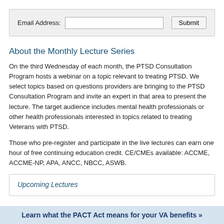[Figure (other): Email address input field with Submit button inside a light gray bar]
About the Monthly Lecture Series
On the third Wednesday of each month, the PTSD Consultation Program hosts a webinar on a topic relevant to treating PTSD. We select topics based on questions providers are bringing to the PTSD Consultation Program and invite an expert in that area to present the lecture. The target audience includes mental health professionals or other health professionals interested in topics related to treating Veterans with PTSD.
Those who pre-register and participate in the live lectures can earn one hour of free continuing education credit. CE/CMEs available: ACCME, ACCME-NP, APA, ANCC, NBCC, ASWB.
Upcoming Lectures
Learn what the PACT Act means for your VA benefits »